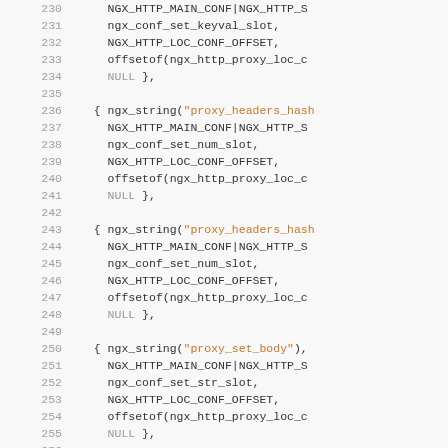Source code listing lines 230-259 showing nginx proxy module configuration entries in C
230: NGX_HTTP_MAIN_CONF|NGX_HTTP_S...
231: ngx_conf_set_keyval_slot,
232: NGX_HTTP_LOC_CONF_OFFSET,
233: offsetof(ngx_http_proxy_loc_c...
234: NULL },
235:
236: { ngx_string("proxy_headers_hash...")
237: NGX_HTTP_MAIN_CONF|NGX_HTTP_S...
238: ngx_conf_set_num_slot,
239: NGX_HTTP_LOC_CONF_OFFSET,
240: offsetof(ngx_http_proxy_loc_c...
241: NULL },
242:
243: { ngx_string("proxy_headers_hash...")
244: NGX_HTTP_MAIN_CONF|NGX_HTTP_S...
245: ngx_conf_set_num_slot,
246: NGX_HTTP_LOC_CONF_OFFSET,
247: offsetof(ngx_http_proxy_loc_c...
248: NULL },
249:
250: { ngx_string("proxy_set_body"),
251: NGX_HTTP_MAIN_CONF|NGX_HTTP_S...
252: ngx_conf_set_str_slot,
253: NGX_HTTP_LOC_CONF_OFFSET,
254: offsetof(ngx_http_proxy_loc_c...
255: NULL },
256:
257: { ngx_string("proxy_method"),
258: NGX_HTTP_MAIN_CONF|NGX_HTTP_S...
259: ngx_conf_set_str_slot,